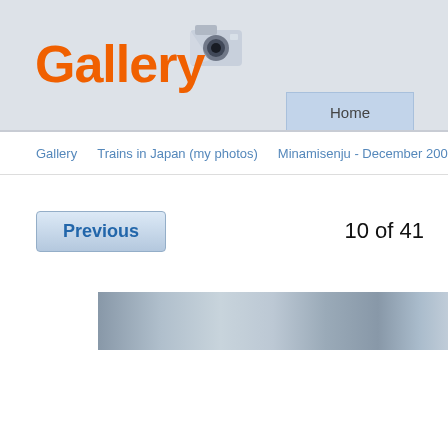Gallery
Home
Gallery   Trains in Japan (my photos)   Minamisenju - December 2009   T
Previous
10 of 41
[Figure (photo): Partial view of a photo strip showing a grey/silver gradient image, cut off at the right edge]